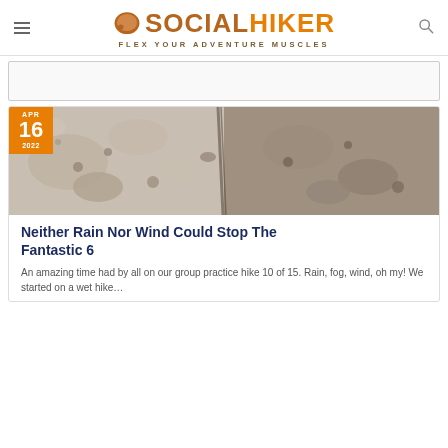SOCIAL HIKER — FLEX YOUR ADVENTURE MUSCLES
[Figure (photo): Rock texture close-up photo used as article thumbnail, with an orange date badge showing Apr 16 2022 in the top-left corner]
Neither Rain Nor Wind Could Stop The Fantastic 6
An amazing time had by all on our group practice hike 10 of 15. Rain, fog, wind, oh my! We started on a wet hike…